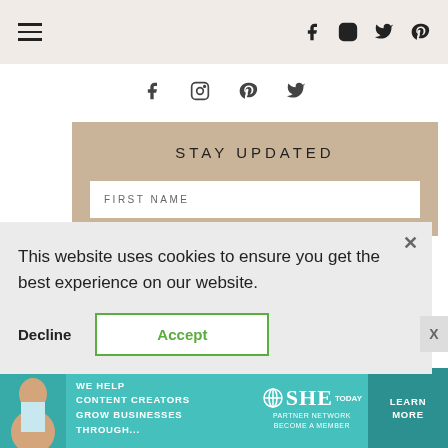Navigation header with hamburger menu and social icons (Facebook, Instagram, Twitter, Pinterest)
[Figure (screenshot): Secondary social icons row: Facebook, Instagram, Pinterest, Twitter]
STAY UPDATED
FIRST NAME
This website uses cookies to ensure you get the best experience on our website.
Decline   Accept
[Figure (infographic): SHE Partner Network advertisement banner: WE HELP CONTENT CREATORS GROW BUSINESSES THROUGH... SHE PARTNER NETWORK BECOME A MEMBER LEARN MORE]